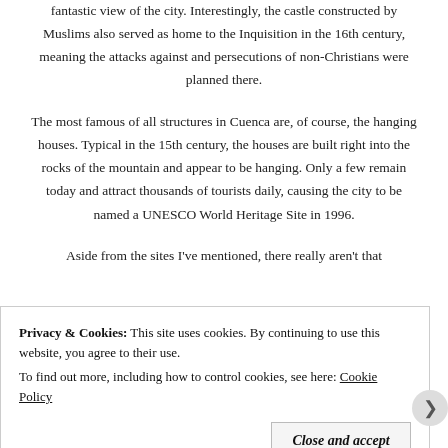fantastic view of the city. Interestingly, the castle constructed by Muslims also served as home to the Inquisition in the 16th century, meaning the attacks against and persecutions of non-Christians were planned there.
The most famous of all structures in Cuenca are, of course, the hanging houses. Typical in the 15th century, the houses are built right into the rocks of the mountain and appear to be hanging. Only a few remain today and attract thousands of tourists daily, causing the city to be named a UNESCO World Heritage Site in 1996.
Aside from the sites I've mentioned, there really aren't that
Privacy & Cookies: This site uses cookies. By continuing to use this website, you agree to their use.
To find out more, including how to control cookies, see here: Cookie Policy
Close and accept